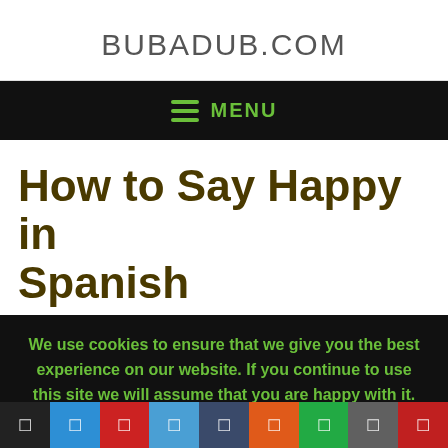BUBADUB.COM
MENU
How to Say Happy in Spanish
We use cookies to ensure that we give you the best experience on our website. If you continue to use this site we will assume that you are happy with it.